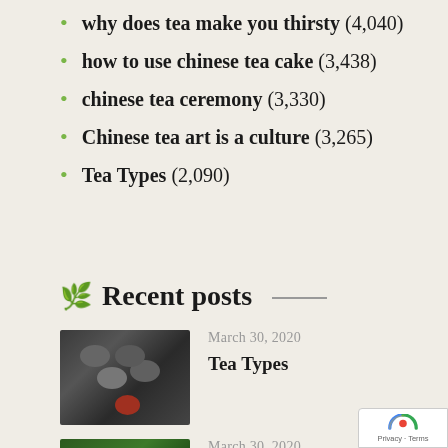why does tea make you thirsty (4,040)
how to use chinese tea cake (3,438)
chinese tea ceremony (3,330)
Chinese tea art is a culture (3,265)
Tea Types (2,090)
Recent posts
[Figure (photo): Overhead view of multiple small cups of tea with loose leaf tea on a dark surface]
March 30, 2020
Tea Types
[Figure (photo): Hands holding green tea plant leaves outdoors]
March 30, 2020
The Varieties of Tea Plant